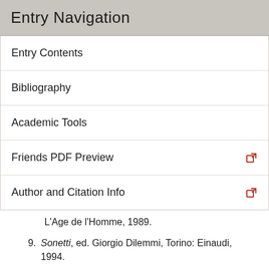Entry Navigation
Entry Contents
Bibliography
Academic Tools
Friends PDF Preview
Author and Citation Info
L'Age de l'Homme, 1989.
9. Sonetti, ed. Giorgio Dilemmi, Torino: Einaudi, 1994.
10. Conclusiones Nongentae: Le novecento tesi dell'anno 1486, ed. Albano Biondi, Florence, Olschki, 1995.
11. L'Esprit du Quattrocento: Pic de la Mirandole: le De ente et uno et Réponses à Antonio Cittadini, ed. Stéphane Toussaint, Paris: Champion, 1995.
12. The Complete Works of St. Thomas More, vol. I, ed.